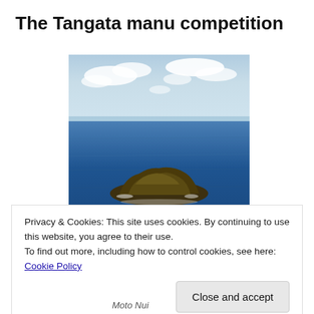The Tangata manu competition
[Figure (photo): Aerial or elevated photograph of a small rocky island (Moto Nui) surrounded by deep blue ocean with clouds and sky in the upper portion]
Privacy & Cookies: This site uses cookies. By continuing to use this website, you agree to their use.
To find out more, including how to control cookies, see here: Cookie Policy
Moto Nui